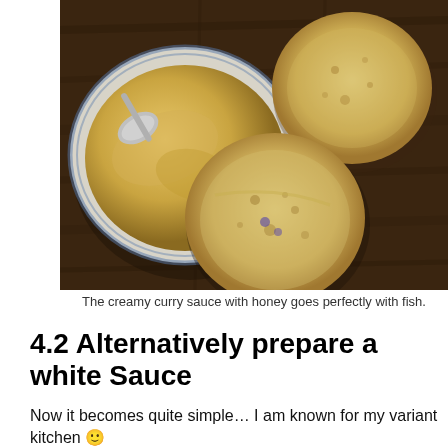[Figure (photo): Overhead view of a creamy curry sauce in a blue and white bowl with a spoon, and two halves of an English muffin spread with the sauce, all on a dark wood cutting board.]
The creamy curry sauce with honey goes perfectly with fish.
4.2 Alternatively prepare a white Sauce
Now it becomes quite simple… I am known for my variant kitchen 🙂